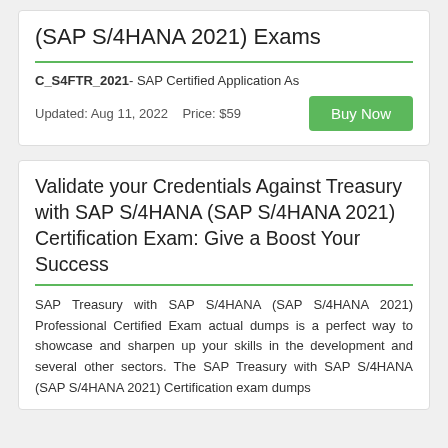(SAP S/4HANA 2021) Exams
C_S4FTR_2021- SAP Certified Application As
Updated: Aug 11, 2022   Price: $59
Validate your Credentials Against Treasury with SAP S/4HANA (SAP S/4HANA 2021) Certification Exam: Give a Boost Your Success
SAP Treasury with SAP S/4HANA (SAP S/4HANA 2021) Professional Certified Exam actual dumps is a perfect way to showcase and sharpen up your skills in the development and several other sectors. The SAP Treasury with SAP S/4HANA (SAP S/4HANA 2021) Certification exam dumps